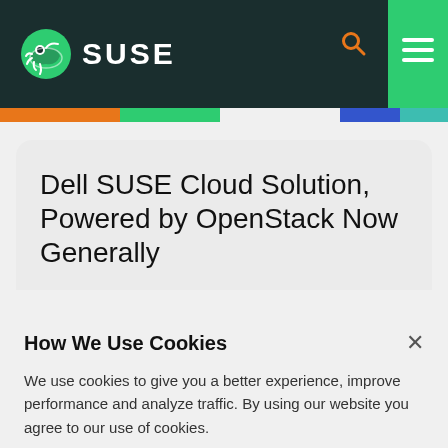SUSE
Dell SUSE Cloud Solution, Powered by OpenStack Now Generally
How We Use Cookies
We use cookies to give you a better experience, improve performance and analyze traffic. By using our website you agree to our use of cookies.
View and change cookie preferences >